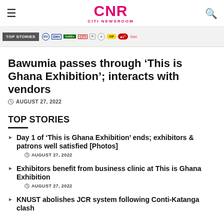CNR CITI NEWSROOM
[Figure (screenshot): Banner image with TOP STORIES badge and sponsor logos including EU, SNV, GrEEn, CITI, and others]
Bawumia passes through ‘This is Ghana Exhibition’; interacts with vendors
AUGUST 27, 2022
TOP STORIES
Day 1 of ‘This is Ghana Exhibition’ ends; exhibitors & patrons well satisfied [Photos] — AUGUST 27, 2022
Exhibitors benefit from business clinic at This is Ghana Exhibition — AUGUST 27, 2022
KNUST abolishes JCR system following Conti-Katanga clash